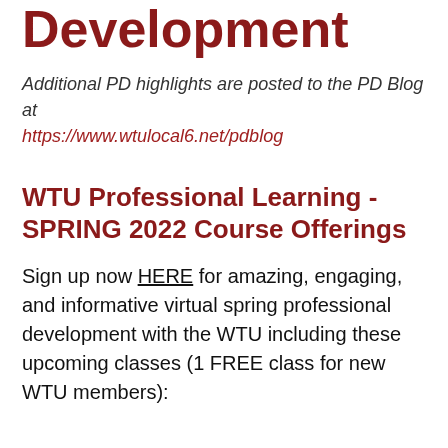Development
Additional PD highlights are posted to the PD Blog at https://www.wtulocal6.net/pdblog
WTU Professional Learning - SPRING 2022 Course Offerings
Sign up now HERE for amazing, engaging, and informative virtual spring professional development with the WTU including these upcoming classes (1 FREE class for new WTU members):